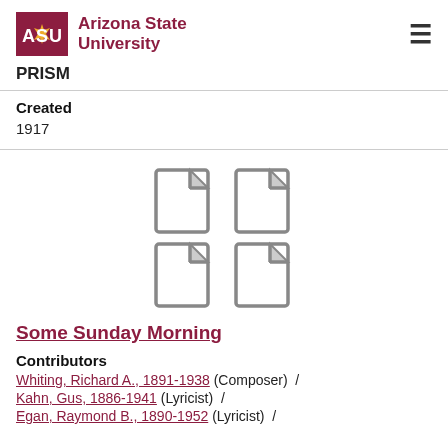[Figure (logo): Arizona State University logo with ASU text in maroon and gold sunburst, followed by 'Arizona State University' text]
PRISM
Created
1917
[Figure (illustration): Four document page icons arranged in a 2x2 grid, gray outline style]
Some Sunday Morning
Contributors
Whiting, Richard A., 1891-1938 (Composer) /
Kahn, Gus, 1886-1941 (Lyricist) /
Egan, Raymond B., 1890-1952 (Lyricist) /